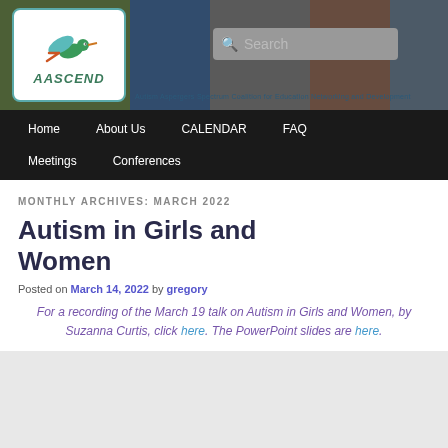[Figure (logo): AASCEND logo with hummingbird on white rounded rectangle background, with photo collage banner]
Home   About Us   CALENDAR   FAQ   Meetings   Conferences
MONTHLY ARCHIVES: MARCH 2022
Autism in Girls and Women
Posted on March 14, 2022 by gregory
For a recording of the March 19 talk on Autism in Girls and Women, by Suzanna Curtis, click here. The PowerPoint slides are here.